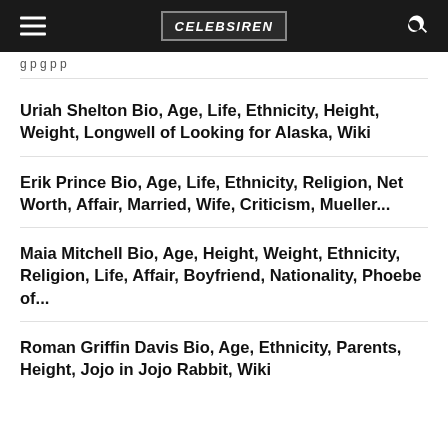CELEBSIREN
g p g p p
Uriah Shelton Bio, Age, Life, Ethnicity, Height, Weight, Longwell of Looking for Alaska, Wiki
Erik Prince Bio, Age, Life, Ethnicity, Religion, Net Worth, Affair, Married, Wife, Criticism, Mueller...
Maia Mitchell Bio, Age, Height, Weight, Ethnicity, Religion, Life, Affair, Boyfriend, Nationality, Phoebe of...
Roman Griffin Davis Bio, Age, Ethnicity, Parents, Height, Jojo in Jojo Rabbit, Wiki